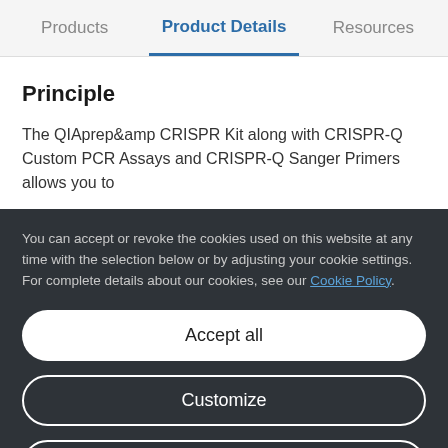Products | Product Details | Resources
Principle
The QIAprep&amp CRISPR Kit along with CRISPR-Q Custom PCR Assays and CRISPR-Q Sanger Primers allows you to
You can accept or revoke the cookies used on this website at any time with the selection below or by adjusting your cookie settings. For complete details about our cookies, see our Cookie Policy.
Accept all
Customize
Only necessary